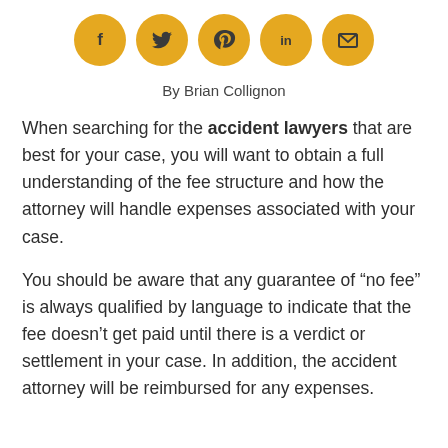[Figure (other): Five golden circular social media share icons: Facebook (f), Twitter (bird), Pinterest (p), LinkedIn (in), Email (envelope)]
By Brian Collignon
When searching for the accident lawyers that are best for your case, you will want to obtain a full understanding of the fee structure and how the attorney will handle expenses associated with your case.
You should be aware that any guarantee of “no fee” is always qualified by language to indicate that the fee doesn’t get paid until there is a verdict or settlement in your case. In addition, the accident attorney will be reimbursed for any expenses.